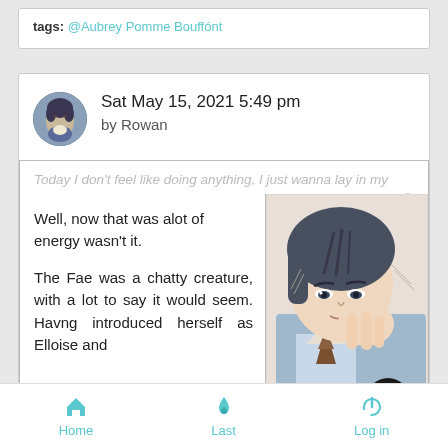tags: @Aubrey Pomme Bouffónt
Sat May 15, 2021 5:49 pm
by Rowan
[Figure (illustration): Manga-style illustration of a male character with dark hair, hand near face, looking sideways. Partial view cropped on right side of panel.]
Today I don't feel like doing anything, I just wanna lay in my
Rowan Mi
Well, now that was alot of energy wasn't it.

The Fae was a chatty creature, with a lot to say it would seem. Havng introduced herself as Elloise and
Home   Last   Log in